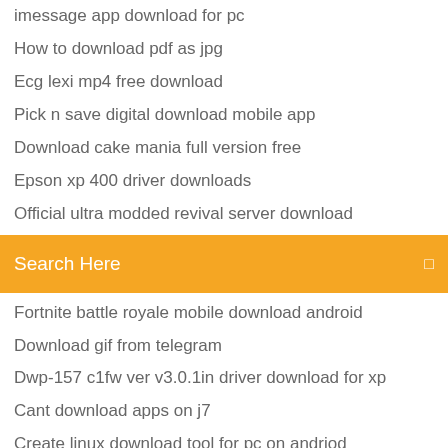imessage app download for pc
How to download pdf as jpg
Ecg lexi mp4 free download
Pick n save digital download mobile app
Download cake mania full version free
Epson xp 400 driver downloads
Official ultra modded revival server download
Search Here
Fortnite battle royale mobile download android
Download gif from telegram
Dwp-157 c1fw ver v3.0.1in driver download for xp
Cant download apps on j7
Create linux download tool for pc on andriod
Facebook messenger wont download on android
Answer to job pdf download
Kmplayer skin download for pc
Wework download pc client
What does it mean when app download pending